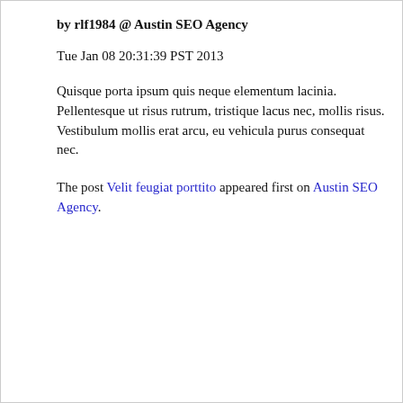by rlf1984 @ Austin SEO Agency
Tue Jan 08 20:31:39 PST 2013
Quisque porta ipsum quis neque elementum lacinia. Pellentesque ut risus rutrum, tristique lacus nec, mollis risus. Vestibulum mollis erat arcu, eu vehicula purus consequat nec.
The post Velit feugiat porttito appeared first on Austin SEO Agency.